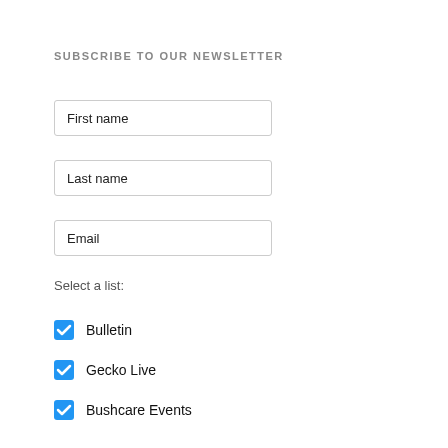SUBSCRIBE TO OUR NEWSLETTER
First name
Last name
Email
Select a list:
Bulletin
Gecko Live
Bushcare Events